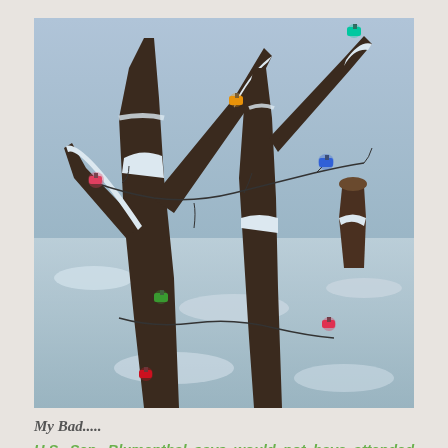[Figure (photo): Outdoor winter photo of snow-covered tree branches with colorful Christmas lights (red, pink, orange, green, blue, teal) hanging on the branches. Snowy background.]
My Bad.....
U.S. Sen. Blumenthal says would not have attended New Haven awards ceremony if he knew it was tied to Communist Party - Hartford Courant